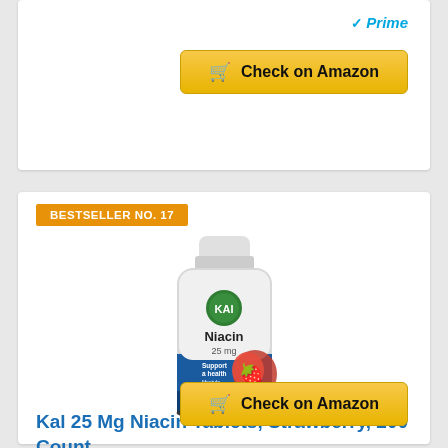[Figure (other): Amazon Prime badge with checkmark icon and italic 'Prime' text in blue/dark]
[Figure (other): Yellow 'Check on Amazon' button with shopping cart icon]
BESTSELLER NO. 17
[Figure (photo): KAL Niacin 25 mg Strawberry 200 count supplement bottle with white cap, KAL logo, and strawberry image]
Kal 25 Mg Niacin Tablets, Strawberry, 200 Count
[Figure (other): Yellow 'Check on Amazon' button with shopping cart icon]